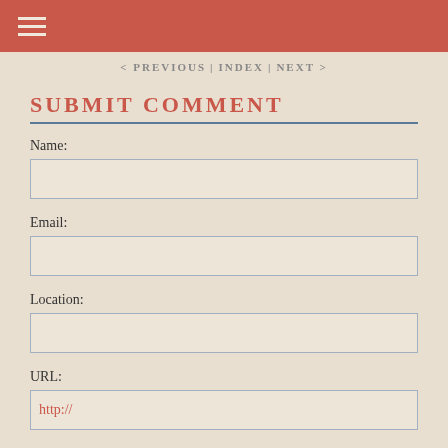< PREVIOUS | INDEX | NEXT >
SUBMIT COMMENT
Name:
Email:
Location:
URL:
http://
Your Comments: